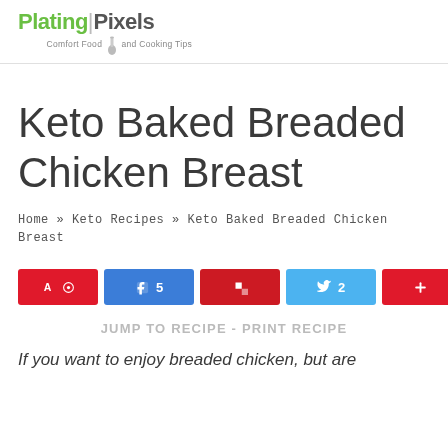Plating Pixels — Comfort Food and Cooking Tips
Keto Baked Breaded Chicken Breast
Home » Keto Recipes » Keto Baked Breaded Chicken Breast
[Figure (infographic): Social share buttons: Pin (red), Share 5 (blue Facebook), Flip (dark red Flipboard), Tweet 2 (blue Twitter), Plus/More (red). Share count: 1.1K SHARES.]
JUMP TO RECIPE - PRINT RECIPE
If you want to enjoy breaded chicken, but are